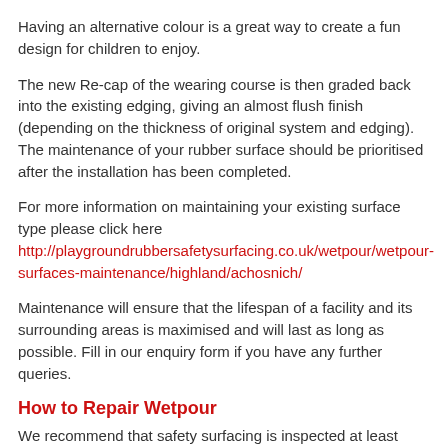Having an alternative colour is a great way to create a fun design for children to enjoy.
The new Re-cap of the wearing course is then graded back into the existing edging, giving an almost flush finish (depending on the thickness of original system and edging). The maintenance of your rubber surface should be prioritised after the installation has been completed.
For more information on maintaining your existing surface type please click here http://playgroundrubbersafetysurfacing.co.uk/wetpour/wetpour-surfaces-maintenance/highland/achosnich/
Maintenance will ensure that the lifespan of a facility and its surrounding areas is maximised and will last as long as possible. Fill in our enquiry form if you have any further queries.
How to Repair Wetpour
We recommend that safety surfacing is inspected at least once a week to ensure it remains safe and compliant at all times. Any item